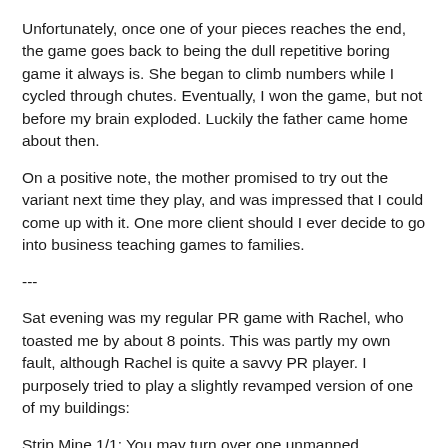Unfortunately, once one of your pieces reaches the end, the game goes back to being the dull repetitive boring game it always is. She began to climb numbers while I cycled through chutes. Eventually, I won the game, but not before my brain exploded. Luckily the father came home about then.
On a positive note, the mother promised to try out the variant next time they play, and was impressed that I could come up with it. One more client should I ever decide to go into business teaching games to families.
---
Sat evening was my regular PR game with Rachel, who toasted me by about 8 points. This was partly my own fault, although Rachel is quite a savvy PR player. I purposely tried to play a slightly revamped version of one of my buildings:
Strip Mine 1/1: You may turn over one unmanned plantation to pay 1 less for a building. Turned over plantations occupy